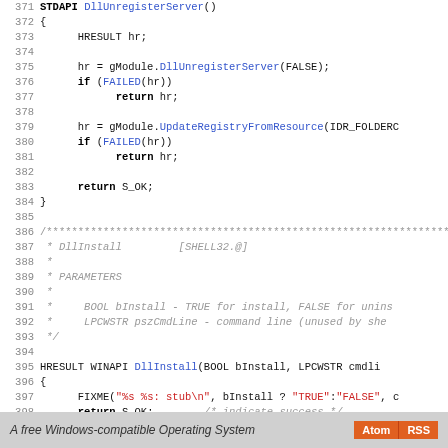[Figure (screenshot): Source code viewer showing C++ code for DllUnregisterServer and DllInstall functions, lines 371-399, with syntax highlighting]
A free Windows-compatible Operating System   Atom  RSS